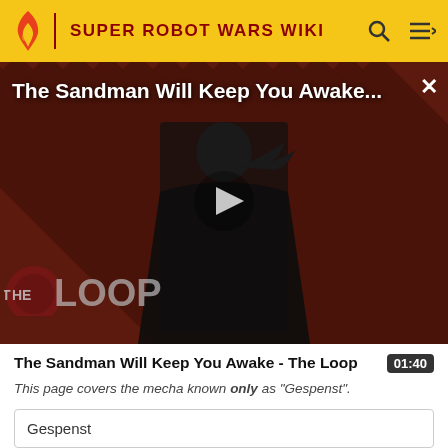SUPER ROBOT WARS WIKI
[Figure (screenshot): Video thumbnail for 'The Sandman Will Keep You Awake - The Loop' showing a figure in black with diagonal striped dark red background and The Loop logo overlay, with a play button in the center.]
The Sandman Will Keep You Awake - The Loop  01:40
This page covers the mecha known only as "Gespenst".
Gespenst